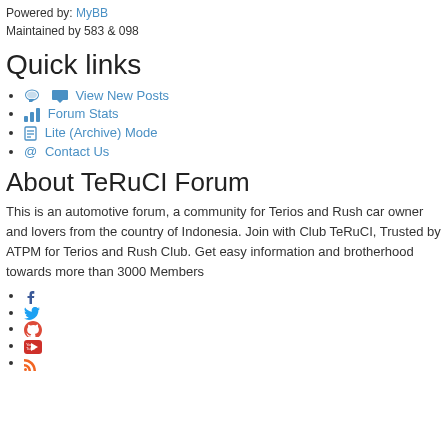Powered by: MyBB
Maintained by 583 & 098
Quick links
View New Posts
Forum Stats
Lite (Archive) Mode
Contact Us
About TeRuCI Forum
This is an automotive forum, a community for Terios and Rush car owner and lovers from the country of Indonesia. Join with Club TeRuCI, Trusted by ATPM for Terios and Rush Club. Get easy information and brotherhood towards more than 3000 Members
Facebook icon
Twitter icon
Google+ icon
YouTube icon
RSS icon